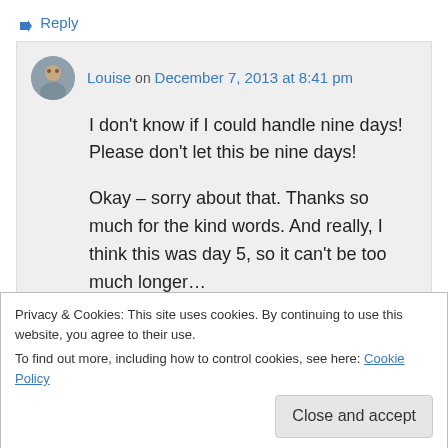↳ Reply
Louise on December 7, 2013 at 8:41 pm
I don't know if I could handle nine days! Please don't let this be nine days!
Okay – sorry about that. Thanks so much for the kind words. And really, I think this was day 5, so it can't be too much longer…
Privacy & Cookies: This site uses cookies. By continuing to use this website, you agree to their use.
To find out more, including how to control cookies, see here: Cookie Policy
Close and accept